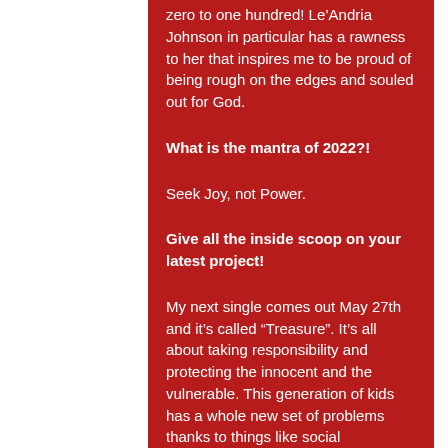zero to one hundred! Le’Andria Johnson in particular has a rawness to her that inspires me to be proud of being rough on the edges and souled out for God.
What is the mantra of 2022?!
Seek Joy, not Power.
Give all the inside scoop on your latest project!
My next single comes out May 27th and it’s called “Treasure”. It’s all about taking responsibility and protecting the innocent and the vulnerable. This generation of kids has a whole new set of problems thanks to things like social